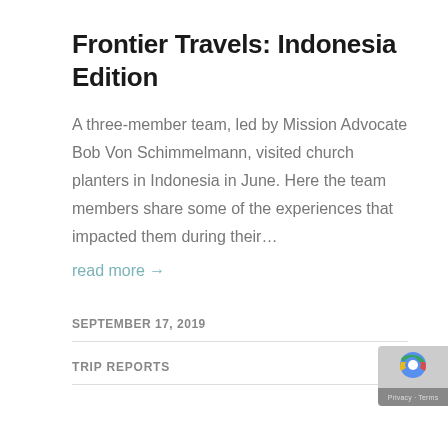Frontier Travels: Indonesia Edition
A three-member team, led by Mission Advocate Bob Von Schimmelmann, visited church planters in Indonesia in June. Here the team members share some of the experiences that impacted them during their…
read more →
SEPTEMBER 17, 2019
TRIP REPORTS